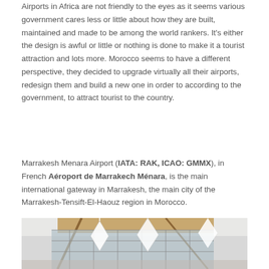Airports in Africa are not friendly to the eyes as it seems various government cares less or little about how they are built, maintained and made to be among the world rankers. It's either the design is awful or little or nothing is done to make it a tourist attraction and lots more. Morocco seems to have a different perspective, they decided to upgrade virtually all their airports, redesign them and build a new one in order to according to the government, to attract tourist to the country.
Marrakesh Menara Airport (IATA: RAK, ICAO: GMMX), in French Aéroport de Marrakech Ménara, is the main international gateway in Marrakesh, the main city of the Marrakesh-Tensift-El-Haouz region in Morocco.
[Figure (photo): Interior photo of Marrakesh Menara Airport showing modern architecture with geometric glass facade, white hanging decorative elements, and wooden ceiling beams]